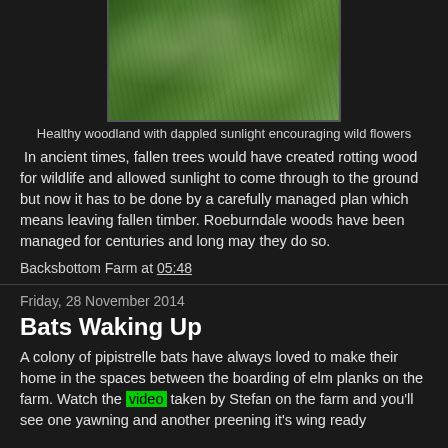[Figure (photo): Healthy woodland with dappled sunlight and wild flowers growing in green grass]
Healthy woodland with dappled sunlight encouraging wild flowers
In ancient times, fallen trees would have created rotting wood for wildlife and allowed sunlight to come through to the ground but now it has to be done by a carefully managed plan which means leaving fallen timber. Roeburndale woods have been managed for centuries and long may they do so.
Backsbottom Farm at 05:48
Friday, 28 November 2014
Bats Waking Up
A colony of pipistrelle bats have always loved to make their home in the spaces between the boarding of elm planks on the farm. Watch the video taken by Stefan on the farm and you'll see one yawning and another preening it's wing ready